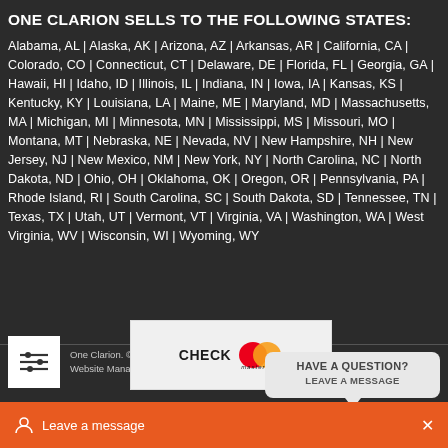ONE CLARION SELLS TO THE FOLLOWING STATES:
Alabama, AL | Alaska, AK | Arizona, AZ | Arkansas, AR | California, CA | Colorado, CO | Connecticut, CT | Delaware, DE | Florida, FL | Georgia, GA | Hawaii, HI | Idaho, ID | Illinois, IL | Indiana, IN | Iowa, IA | Kansas, KS | Kentucky, KY | Louisiana, LA | Maine, ME | Maryland, MD | Massachusetts, MA | Michigan, MI | Minnesota, MN | Mississippi, MS | Missouri, MO | Montana, MT | Nebraska, NE | Nevada, NV | New Hampshire, NH | New Jersey, NJ | New Mexico, NM | New York, NY | North Carolina, NC | North Dakota, ND | Ohio, OH | Oklahoma, OK | Oregon, OR | Pennsylvania, PA | Rhode Island, RI | South Carolina, SC | South Dakota, SD | Tennessee, TN | Texas, TX | Utah, UT | Vermont, VT | Virginia, VA | Washington, WA | West Virginia, WV | Wisconsin, WI | Wyoming, WY
One Clarion. © 2022. All Rights Reserved
Website Managed by Smart Client Marketing Company
[Figure (other): Filter/settings icon (three horizontal lines with sliders)]
[Figure (other): Mastercard payment widget showing CHECK and Mastercard logo]
[Figure (other): Chat bubble overlay: HAVE A QUESTION? LEAVE A MESSAGE]
[Figure (other): Leave a message chat bar at the bottom of the page with close X button]